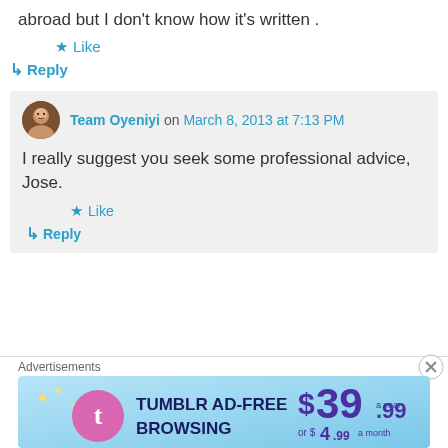abroad but I don't know how it's written .
★ Like
↳ Reply
Team Oyeniyi on March 8, 2013 at 7:13 PM
I really suggest you seek some professional advice, Jose.
★ Like
↳ Reply
Advertisements
[Figure (screenshot): Tumblr Ad-Free Browsing advertisement banner showing $39.99 a year or $4.99 a month]